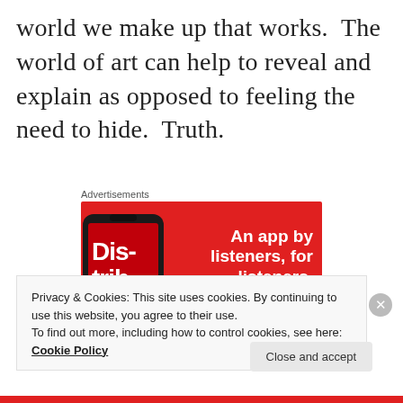world we make up that works. The world of art can help to reveal and explain as opposed to feeling the need to hide. Truth.
Advertisements
[Figure (illustration): Advertisement banner on red background featuring a smartphone showing 'Distributed' app with text 'An app by listeners, for listeners.' and a 'Download now' button.]
Privacy & Cookies: This site uses cookies. By continuing to use this website, you agree to their use.
To find out more, including how to control cookies, see here:
Cookie Policy
Close and accept